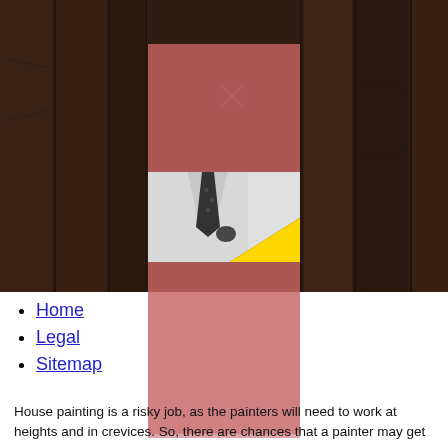[Figure (photo): Dark wood plank background with a centered dusty rose/pink rectangular panel overlay. The panel contains an X mark near the top and a black-and-white photo inset of a person in a white shirt and tie with a yellow triangle graphic overlay. Below the photo section the pink panel continues and extends below the wood background area.]
Home
Legal
Sitemap
House painting is a risky job, as the painters will need to work at heights and in crevices. So, there are chances that a painter may get injured